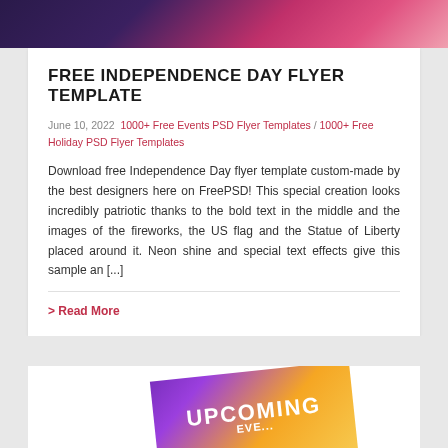[Figure (photo): Top decorative image strip showing a colorful flyer preview with dark purple and pink tones]
FREE INDEPENDENCE DAY FLYER TEMPLATE
June 10, 2022  1000+ Free Events PSD Flyer Templates / 1000+ Free Holiday PSD Flyer Templates
Download free Independence Day flyer template custom-made by the best designers here on FreePSD! This special creation looks incredibly patriotic thanks to the bold text in the middle and the images of the fireworks, the US flag and the Statue of Liberty placed around it. Neon shine and special text effects give this sample an [...]
> Read More
[Figure (photo): Bottom preview of an upcoming events flyer with purple and orange/yellow colors showing partial text UPCOMING]